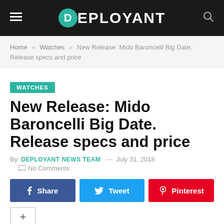DEPLOYANT
Home » Watches » New Release: Mido Baroncelli Big Date. Release specs and price
WATCHES
New Release: Mido Baroncelli Big Date. Release specs and price
By DEPLOYANT NEWS TEAM — July 31, 2018   No Comments
Share  Tweet  Pinterest